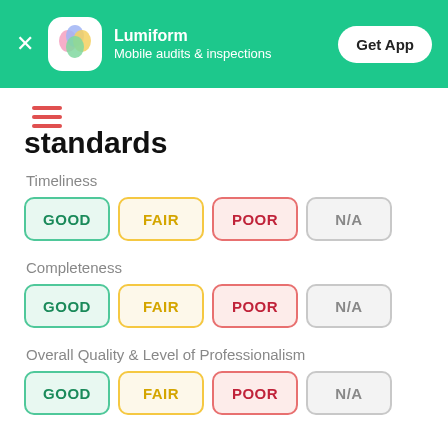[Figure (screenshot): Lumiform app banner with green background, app icon, name, tagline 'Mobile audits & inspections', and 'Get App' button]
[Figure (other): Red hamburger menu icon (three horizontal lines)]
standards
Timeliness
GOOD | FAIR | POOR | N/A
Completeness
GOOD | FAIR | POOR | N/A
Overall Quality & Level of Professionalism
GOOD | FAIR | POOR | N/A